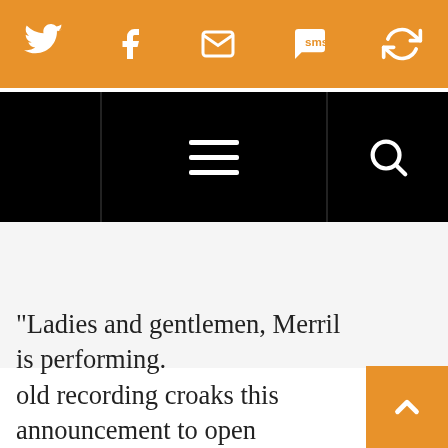Social sharing bar with Twitter, Facebook, Email, SMS, and another icon
Navigation bar with hamburger menu and search icon
“Ladies and gentlemen, Merril is performing. old recording croaks this announcement to open